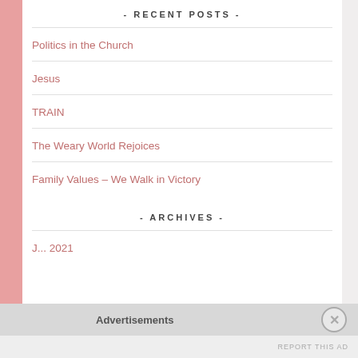- RECENT POSTS -
Politics in the Church
Jesus
TRAIN
The Weary World Rejoices
Family Values – We Walk in Victory
- ARCHIVES -
Advertisements
REPORT THIS AD